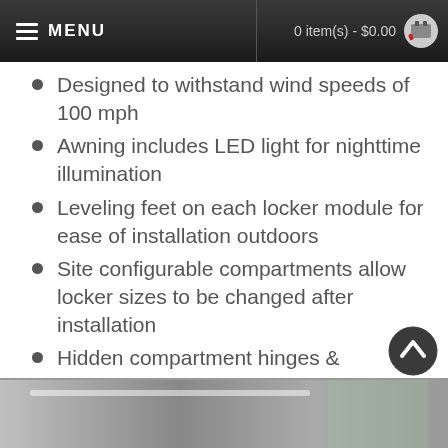MENU | 0 item(s) - $0.00
Designed to withstand wind speeds of 100 mph
Awning includes LED light for nighttime illumination
Leveling feet on each locker module for ease of installation outdoors
Site configurable compartments allow locker sizes to be changed after installation
Hidden compartment hinges & mounting hardware provide a sleek exterior look
[Figure (photo): Bottom strip showing an outdoor locker/awning unit exterior view]